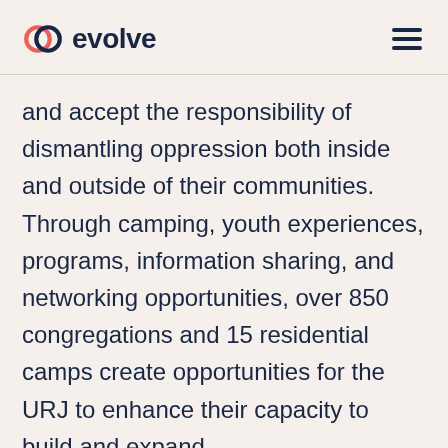evolve
and accept the responsibility of dismantling oppression both inside and outside of their communities. Through camping, youth experiences, programs, information sharing, and networking opportunities, over 850 congregations and 15 residential camps create opportunities for the URJ to enhance their capacity to build and expand